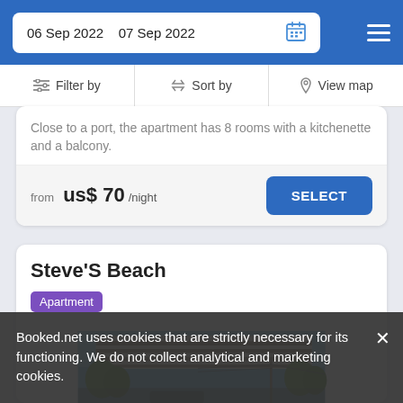06 Sep 2022   07 Sep 2022
Filter by   Sort by   View map
Close to a port, the apartment has 8 rooms with a kitchenette and a balcony.
from  us$ 70/night   SELECT
Steve'S Beach
Apartment
[Figure (photo): Exterior photo of Steve's Beach apartment showing a pergola/roof shade structure with trees and blue sky in background]
Booked.net uses cookies that are strictly necessary for its functioning. We do not collect analytical and marketing cookies.